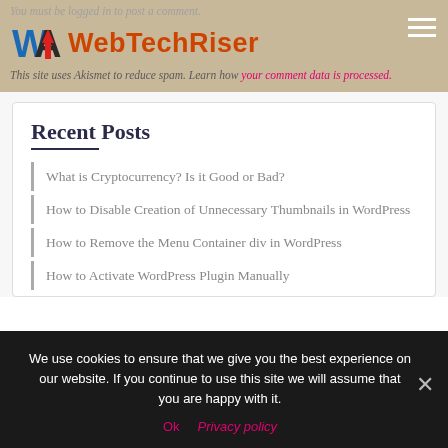You must be logged in to post a comment.
WebTechRiser
This site uses Akismet to reduce spam. Learn how your comment data is processed.
Recent Posts
What is Cryptocurrency? Is it Good or Bad?
How to Disable Creation of Unnecessary Thumbnails in WordPress
How to Remove the Menu Container div in WordPress
How to Activate WordPress Plugin Manually
We use cookies to ensure that we give you the best experience on our website. If you continue to use this site we will assume that you are happy with it.
Ok   Privacy policy